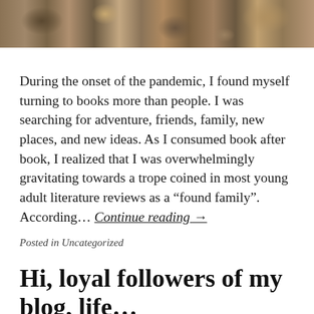[Figure (photo): Top strip of a rocky/gravelly outdoor scene, partial view]
During the onset of the pandemic, I found myself turning to books more than people. I was searching for adventure, friends, family, new places, and new ideas. As I consumed book after book, I realized that I was overwhelmingly gravitating towards a trope coined in most young adult literature reviews as a “found family”. According… Continue reading →
Posted in Uncategorized
Hi, loyal followers of my blog, life…